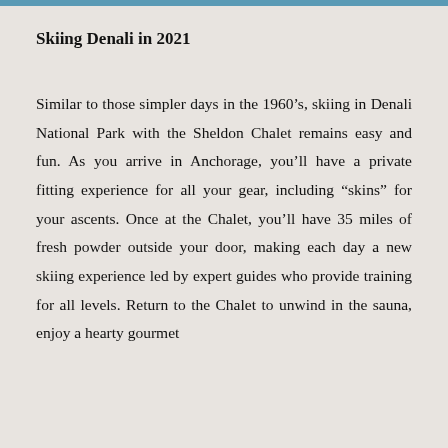Skiing Denali in 2021
Similar to those simpler days in the 1960’s, skiing in Denali National Park with the Sheldon Chalet remains easy and fun. As you arrive in Anchorage, you’ll have a private fitting experience for all your gear, including “skins” for your ascents. Once at the Chalet, you’ll have 35 miles of fresh powder outside your door, making each day a new skiing experience led by expert guides who provide training for all levels. Return to the Chalet to unwind in the sauna, enjoy a hearty gourmet